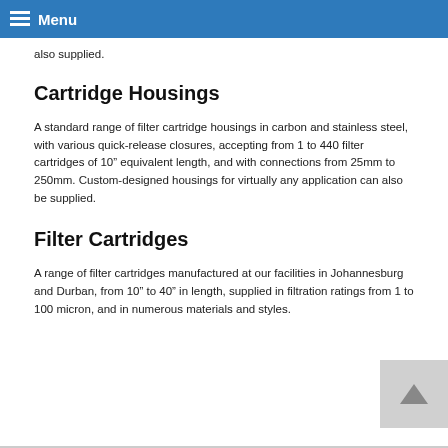Menu
also supplied.
Cartridge Housings
A standard range of filter cartridge housings in carbon and stainless steel, with various quick-release closures, accepting from 1 to 440 filter cartridges of 10" equivalent length, and with connections from 25mm to 250mm. Custom-designed housings for virtually any application can also be supplied.
Filter Cartridges
A range of filter cartridges manufactured at our facilities in Johannesburg and Durban, from 10" to 40" in length, supplied in filtration ratings from 1 to 100 micron, and in numerous materials and styles.